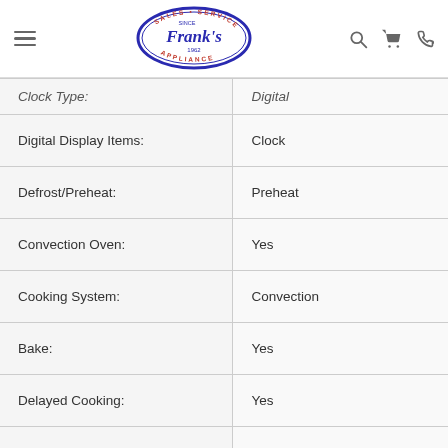Frank's Appliance — Sales · Service Since 1962
| Feature | Value |
| --- | --- |
| Clock Type: | Digital |
| Digital Display Items: | Clock |
| Defrost/Preheat: | Preheat |
| Convection Oven: | Yes |
| Cooking System: | Convection |
| Bake: | Yes |
| Delayed Cooking: | Yes |